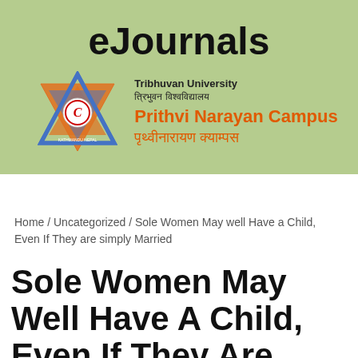eJournals
[Figure (logo): Tribhuvan University / Prithvi Narayan Campus logo with Star of David shape in blue and orange with a circular emblem in the center]
Tribhuvan University
त्रिभुवन विश्वविद्यालय
Prithvi Narayan Campus
पृथ्वीनारायण क्याम्पस
Home / Uncategorized / Sole Women May well Have a Child, Even If They are simply Married
Sole Women May Well Have A Child, Even If They Are